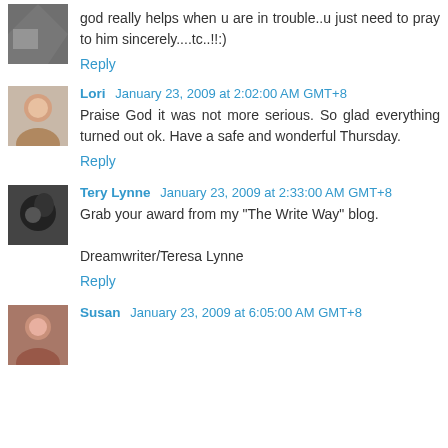god really helps when u are in trouble..u just need to pray to him sincerely....tc..!!:)
Reply
Lori January 23, 2009 at 2:02:00 AM GMT+8
Praise God it was not more serious. So glad everything turned out ok. Have a safe and wonderful Thursday.
Reply
Tery Lynne January 23, 2009 at 2:33:00 AM GMT+8
Grab your award from my "The Write Way" blog.

Dreamwriter/Teresa Lynne
Reply
Susan January 23, 2009 at 6:05:00 AM GMT+8